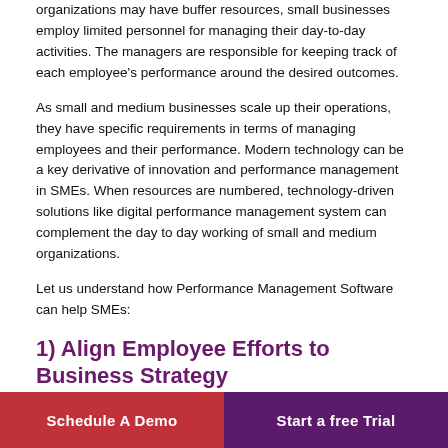organizations may have buffer resources, small businesses employ limited personnel for managing their day-to-day activities. The managers are responsible for keeping track of each employee's performance around the desired outcomes.
As small and medium businesses scale up their operations, they have specific requirements in terms of managing employees and their performance. Modern technology can be a key derivative of innovation and performance management in SMEs. When resources are numbered, technology-driven solutions like digital performance management system can complement the day to day working of small and medium organizations.
Let us understand how Performance Management Software can help SMEs:
1) Align Employee Efforts to Business Strategy
A digital Performance Management System or Software along with a performance management methodology like
Schedule A Demo | Start a free Trial